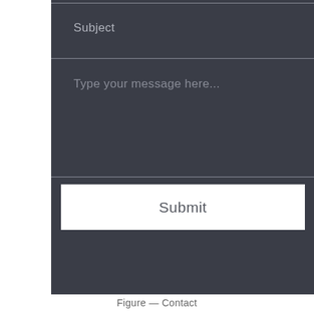Subject
Type your message here...
Submit
Figure — Contact